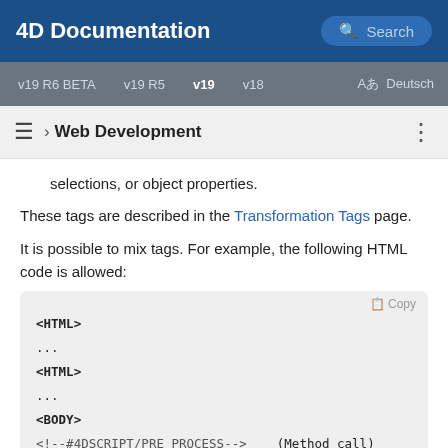4D Documentation
v19 R6 BETA  v19 R5  v19  v18  Aあ Deutsch
› Web Development
selections, or object properties.
These tags are described in the Transformation Tags page.
It is possible to mix tags. For example, the following HTML code is allowed:
[Figure (screenshot): Code block showing HTML with 4D transformation tags: <HTML>, ..., <HTML>, ..., <BODY>, <!--#4DSCRIPT/PRE_PROCESS--> (Method call), <!--#4DIF (myvar=1)--> (If condition), <!--#4DINCLUDE banner1.html--> (Subpage ins]